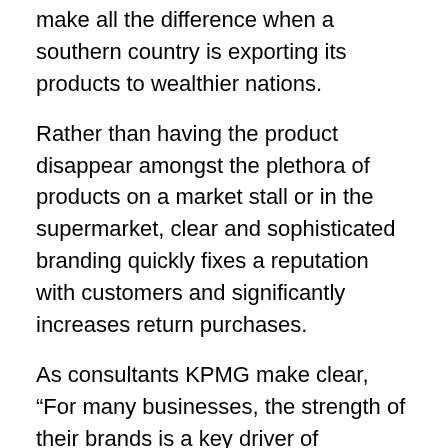make all the difference when a southern country is exporting its products to wealthier nations.
Rather than having the product disappear amongst the plethora of products on a market stall or in the supermarket, clear and sophisticated branding quickly fixes a reputation with customers and significantly increases return purchases.
As consultants KPMG make clear, “For many businesses, the strength of their brands is a key driver of profitability and cash flow.”
Yet many small businesses fail to think about their brand values or how design will improve their product or service.
The Afghani pomegranate had been enjoying export success since 2007, when it became a big a hit with consumers at shops in Dubai. The Forou… somewhat